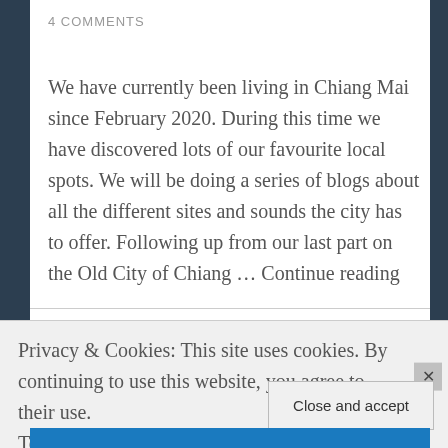4 COMMENTS
We have currently been living in Chiang Mai since February 2020. During this time we have discovered lots of our favourite local spots. We will be doing a series of blogs about all the different sites and sounds the city has to offer. Following up from our last part on the Old City of Chiang … Continue reading
Privacy & Cookies: This site uses cookies. By continuing to use this website, you agree to their use.
To find out more, including how to control cookies, see here: Cookie Policy
Close and accept